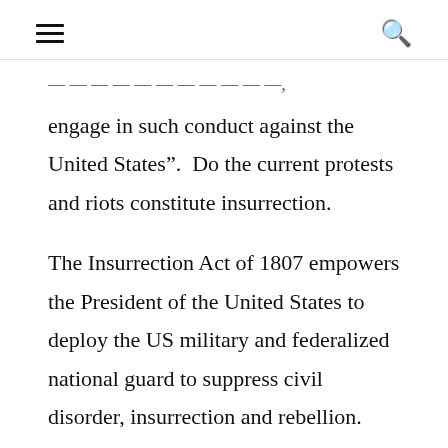≡  🔍
engage in such conduct against the United States”.  Do the current protests and riots constitute insurrection.
The Insurrection Act of 1807 empowers the President of the United States to deploy the US military and federalized national guard to suppress civil disorder, insurrection and rebellion.  This Act is a major exception to the